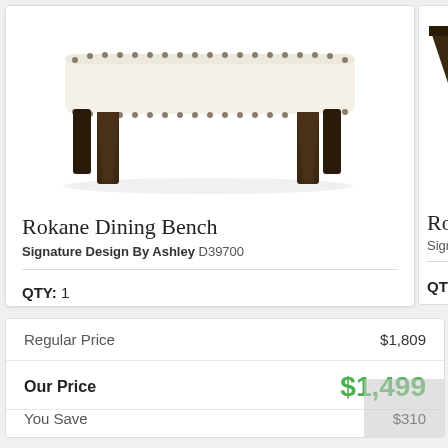[Figure (photo): Rokane Dining Bench with cream/beige upholstery, nailhead trim, and dark espresso wooden legs]
Rokane Dining Bench
Signature Design By Ashley D39700
QTY: 1
[Figure (photo): Partial view of Rokane dining table top in dark espresso finish]
Rokane
Signature D
QTY: 1
|  |  |
| --- | --- |
| Regular Price | $1,809 |
| Our Price | $1,499 |
| You Save | $310 |